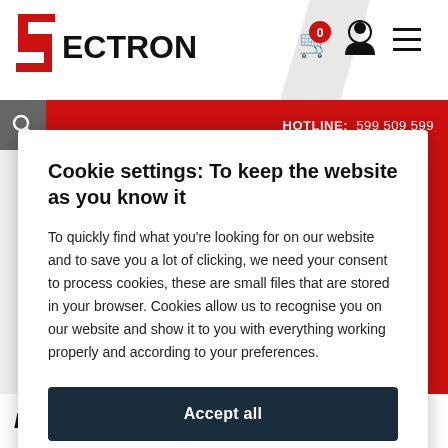SECTRON — HOTLINE: 599 509 599
Cookie settings: To keep the website as you know it
To quickly find what you're looking for on our website and to save you a lot of clicking, we need your consent to process cookies, these are small files that are stored in your browser. Cookies allow us to recognise you on our website and show it to you with everything working properly and according to your preferences.
Accept all
Settings
BL600-SA - Single Mode BLE